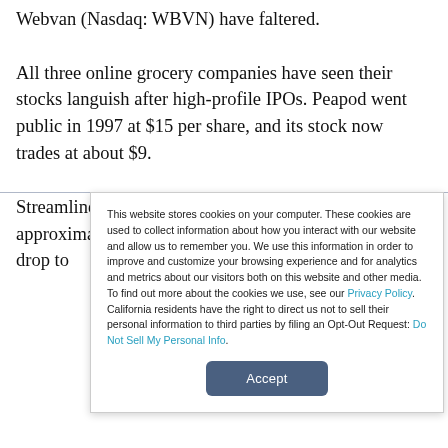Webvan (Nasdaq: WBVN) have faltered.

All three online grocery companies have seen their stocks languish after high-profile IPOs. Peapod went public in 1997 at $15 per share, and its stock now trades at about $9.

Streamline launched at $10 per share last June, raising approximately $56 million, and has seen its share price drop to
This website stores cookies on your computer. These cookies are used to collect information about how you interact with our website and allow us to remember you. We use this information in order to improve and customize your browsing experience and for analytics and metrics about our visitors both on this website and other media. To find out more about the cookies we use, see our Privacy Policy. California residents have the right to direct us not to sell their personal information to third parties by filing an Opt-Out Request: Do Not Sell My Personal Info.